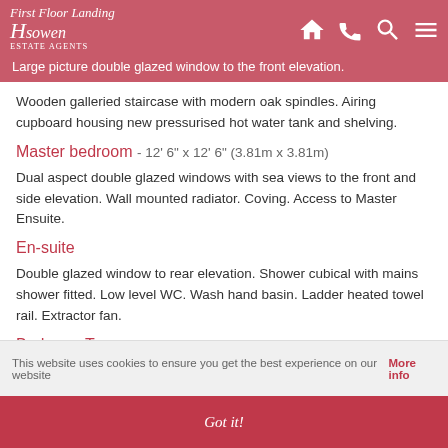First Floor Landing
Large picture double glazed window to the front elevation.
Wooden galleried staircase with modern oak spindles. Airing cupboard housing new pressurised hot water tank and shelving.
Master bedroom - 12' 6" x 12' 6" (3.81m x 3.81m)
Dual aspect double glazed windows with sea views to the front and side elevation. Wall mounted radiator. Coving. Access to Master Ensuite.
En-suite
Double glazed window to rear elevation. Shower cubical with mains shower fitted. Low level WC. Wash hand basin. Ladder heated towel rail. Extractor fan.
Bedroom Two - 12' 5" x 9' 0" (3.78m x 2.74m)
This website uses cookies to ensure you get the best experience on our website More info
Got it!